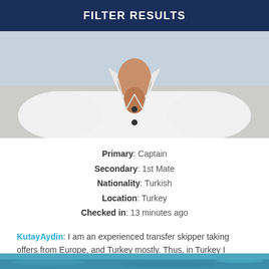FILTER RESULTS
[Figure (photo): Profile photo of a man wearing a white open-collar shirt, photo cropped at chest level]
Primary: Captain
Secondary: 1st Mate
Nationality: Turkish
Location: Turkey
Checked in: 13 minutes ago
KutayAydin: I am an experienced transfer skipper taking offers from Europe, and Turkey mostly. Thus, in Turkey I organized...
VIEW PROFILE